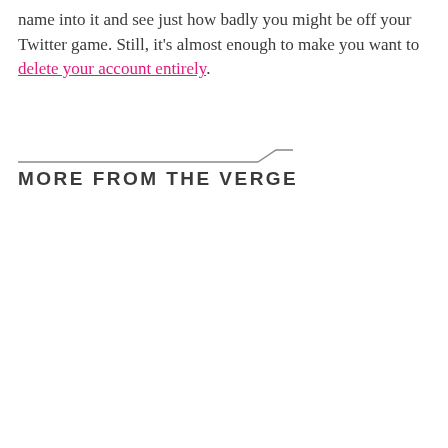name into it and see just how badly you might be off your Twitter game. Still, it's almost enough to make you want to delete your account entirely.
MORE FROM THE VERGE